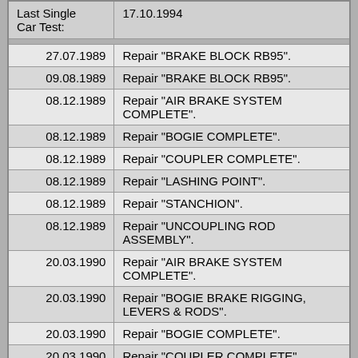| Date | Description |
| --- | --- |
| Last Single Car Test: | 17.10.1994 |
| 27.07.1989 | Repair "BRAKE BLOCK RB95". |
| 09.08.1989 | Repair "BRAKE BLOCK RB95". |
| 08.12.1989 | Repair "AIR BRAKE SYSTEM COMPLETE". |
| 08.12.1989 | Repair "BOGIE COMPLETE". |
| 08.12.1989 | Repair "COUPLER COMPLETE". |
| 08.12.1989 | Repair "LASHING POINT". |
| 08.12.1989 | Repair "STANCHION". |
| 08.12.1989 | Repair "UNCOUPLING ROD ASSEMBLY". |
| 20.03.1990 | Repair "AIR BRAKE SYSTEM COMPLETE". |
| 20.03.1990 | Repair "BOGIE BRAKE RIGGING, LEVERS & RODS". |
| 20.03.1990 | Repair "BOGIE COMPLETE". |
| 20.03.1990 | Repair "COUPLER COMPLETE". |